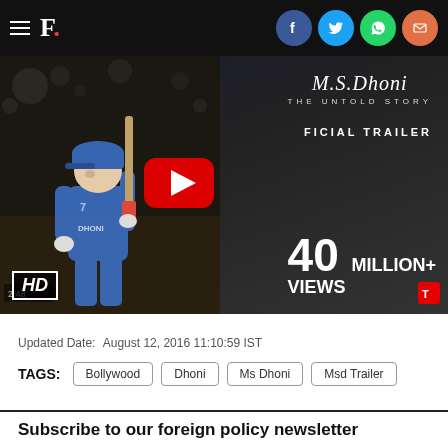F. [social icons: Facebook, Twitter, WhatsApp, Email]
[Figure (screenshot): YouTube video thumbnail for M.S. Dhoni - The Untold Story Official Trailer with 40 MILLION+ VIEWS, showing a cricket player holding a bat, with red YouTube play button overlay, HD badge in bottom left.]
Updated Date:   August 12, 2016 11:10:59 IST
TAGS:  Bollywood  Dhoni  Ms Dhoni  Msd Trailer
Subscribe to our foreign policy newsletter